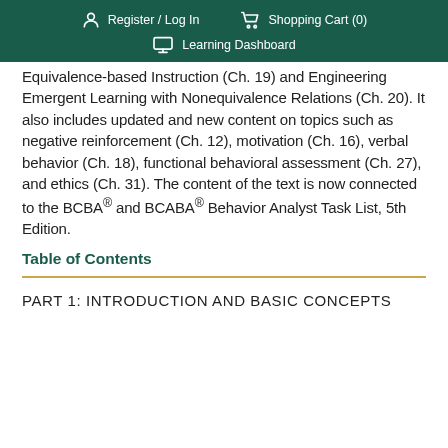Register / Log In   Shopping Cart (0)   Learning Dashboard
Equivalence-based Instruction (Ch. 19) and Engineering Emergent Learning with Nonequivalence Relations (Ch. 20). It also includes updated and new content on topics such as negative reinforcement (Ch. 12), motivation (Ch. 16), verbal behavior (Ch. 18), functional behavioral assessment (Ch. 27), and ethics (Ch. 31). The content of the text is now connected to the BCBA® and BCABA® Behavior Analyst Task List, 5th Edition.
Table of Contents
PART 1: INTRODUCTION AND BASIC CONCEPTS